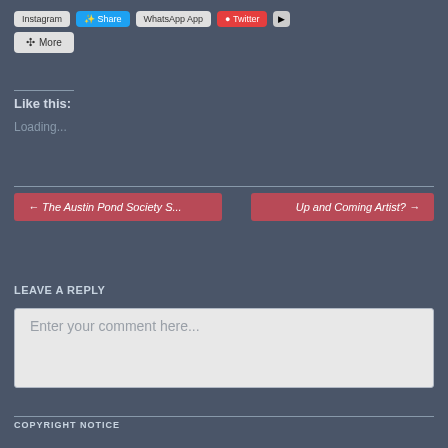[Figure (screenshot): Social share buttons row: Instagram, Share (blue), WhatsApp App, a red button, and another small button]
More
Like this:
Loading...
← The Austin Pond Society S...
Up and Coming Artist? →
LEAVE A REPLY
Enter your comment here...
COPYRIGHT NOTICE